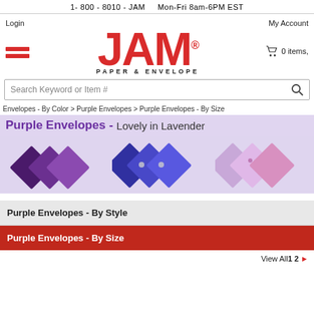1- 800 - 8010 - JAM   Mon-Fri 8am-6PM EST
Login
My Account
[Figure (logo): JAM Paper & Envelope logo in red]
0 items,
Search Keyword or Item #
Envelopes - By Color > Purple Envelopes > Purple Envelopes - By Size
Purple Envelopes - Lovely in Lavender
[Figure (photo): Three groups of purple envelopes in various shades: dark purple, medium purple/blue, and light lavender/pink]
Purple Envelopes - By Style
Purple Envelopes - By Size
View All1 2 ▶